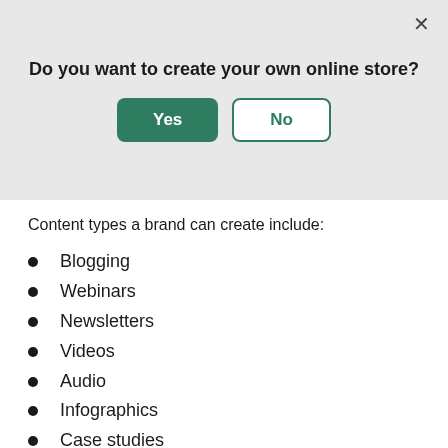[Figure (screenshot): Modal dialog box with gray background asking 'Do you want to create your own online store?' with a green 'Yes' button and a white/green outlined 'No' button, and an X close button in the top right.]
Content types a brand can create include:
Blogging
Webinars
Newsletters
Videos
Audio
Infographics
Case studies
White papers
Contests and giveaways